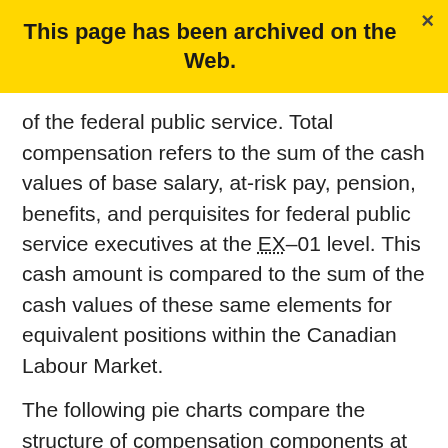This page has been archived on the Web.
of the federal public service. Total compensation refers to the sum of the cash values of base salary, at-risk pay, pension, benefits, and perquisites for federal public service executives at the EX–01 level. This cash amount is compared to the sum of the cash values of these same elements for equivalent positions within the Canadian Labour Market.
The following pie charts compare the structure of compensation components at the